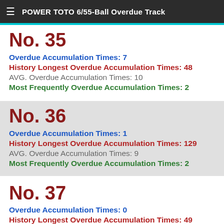POWER TOTO 6/55-Ball Overdue Track
No. 35
Overdue Accumulation Times: 7
History Longest Overdue Accumulation Times: 48
AVG. Overdue Accumulation Times: 10
Most Frequently Overdue Accumulation Times: 2
No. 36
Overdue Accumulation Times: 1
History Longest Overdue Accumulation Times: 129
AVG. Overdue Accumulation Times: 9
Most Frequently Overdue Accumulation Times: 2
No. 37
Overdue Accumulation Times: 0
History Longest Overdue Accumulation Times: 49
AVG. Overdue Accumulation Times: 9